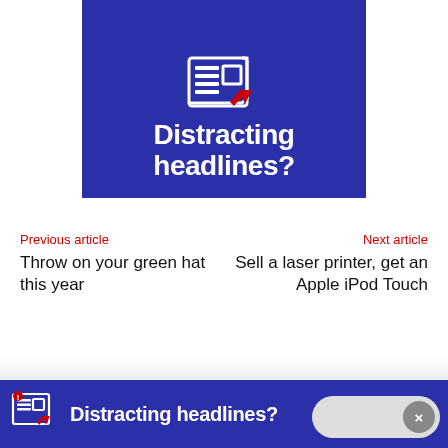[Figure (infographic): Blue banner with newspaper/cursor icon and white bold text 'Distracting headlines?']
Previous article
Throw on your green hat this year
Next article
Sell a laser printer, get an Apple iPod Touch
[Figure (infographic): Bottom sticky bar with blue background, newspaper icon and bold white text 'Distracting headlines?' with a close button]